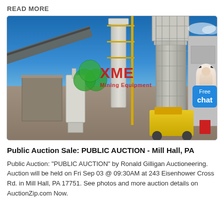READ MORE
[Figure (photo): Industrial mining/quarry plant facility with conveyors, silos, towers, and a dust collector against a blue sky. XME Mining Equipment watermark overlay. Free chat widget visible at right.]
Public Auction Sale: PUBLIC AUCTION - Mill Hall, PA
Public Auction: "PUBLIC AUCTION" by Ronald Gilligan Auctioneering. Auction will be held on Fri Sep 03 @ 09:30AM at 243 Eisenhower Cross Rd. in Mill Hall, PA 17751. See photos and more auction details on AuctionZip.com Now.